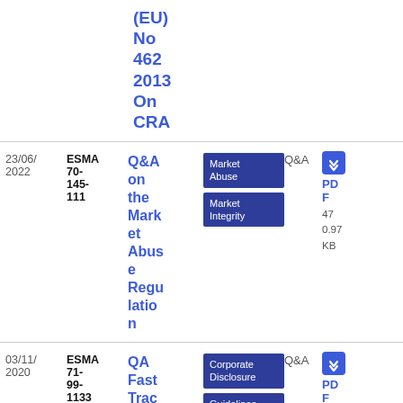(EU) No 462 2013 On CRA
| Date | Reference | Title | Tags | Type | Download |
| --- | --- | --- | --- | --- | --- |
| 23/06/2022 | ESMA 70-145-111 | Q&A on the Market Abuse Regulation | Market Abuse, Market Integrity | Q&A | PDF 47 0.97 KB |
| 03/11/2020 | ESMA 71-99-1133 | QA Fast Trac... | Corporate Disclosure, Guidelines | Q&A | PDF 24 |